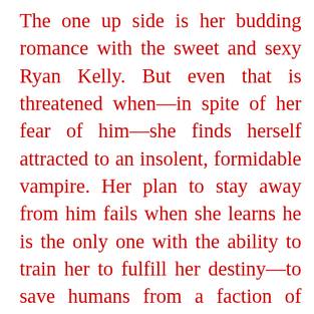The one up side is her budding romance with the sweet and sexy Ryan Kelly. But even that is threatened when—in spite of her fear of him—she finds herself attracted to an insolent, formidable vampire. Her plan to stay away from him fails when she learns he is the only one with the ability to train her to fulfill her destiny—to save humans from a faction of vicious vampires.